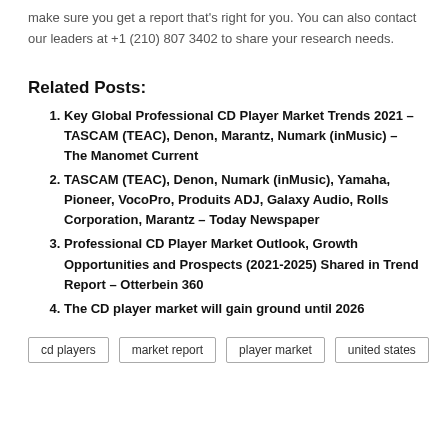make sure you get a report that's right for you. You can also contact our leaders at +1 (210) 807 3402 to share your research needs.
Related Posts:
Key Global Professional CD Player Market Trends 2021 – TASCAM (TEAC), Denon, Marantz, Numark (inMusic) – The Manomet Current
TASCAM (TEAC), Denon, Numark (inMusic), Yamaha, Pioneer, VocoPro, Produits ADJ, Galaxy Audio, Rolls Corporation, Marantz – Today Newspaper
Professional CD Player Market Outlook, Growth Opportunities and Prospects (2021-2025) Shared in Trend Report – Otterbein 360
The CD player market will gain ground until 2026
cd players   market report   player market   united states